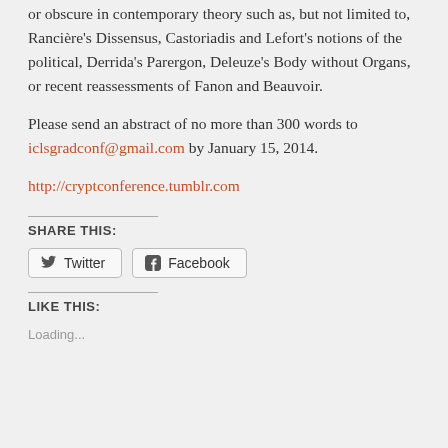or obscure in contemporary theory such as, but not limited to, Rancière's Dissensus, Castoriadis and Lefort's notions of the political, Derrida's Parergon, Deleuze's Body without Organs, or recent reassessments of Fanon and Beauvoir.
Please send an abstract of no more than 300 words to iclsgradconf@gmail.com by January 15, 2014.
http://cryptconference.tumblr.com
SHARE THIS:
Twitter   Facebook
LIKE THIS:
Loading...